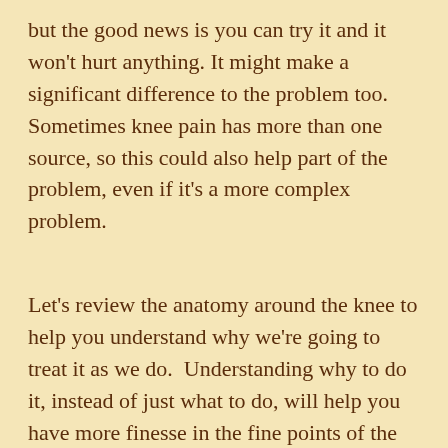but the good news is you can try it and it won't hurt anything. It might make a significant difference to the problem too. Sometimes knee pain has more than one source, so this could also help part of the problem, even if it's a more complex problem.
Let's review the anatomy around the knee to help you understand why we're going to treat it as we do. Understanding why to do it, instead of just what to do, will help you have more finesse in the fine points of the exercise.